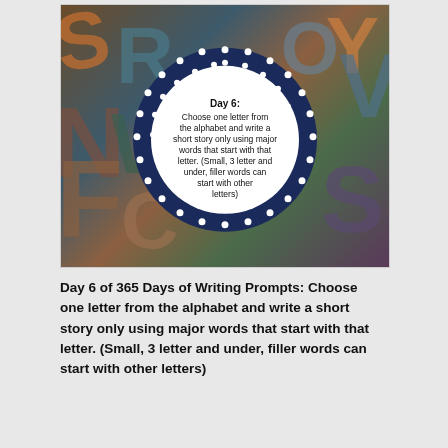[Figure (illustration): A photo of colorful 3D block letters in orange, teal, brown and blue tones, with a white dotted-border circle overlay in the center containing the text: 'Day 6: Choose one letter from the alphabet and write a short story only using major words that start with that letter. (Small, 3 letter and under, filler words can start with other letters)']
Day 6 of 365 Days of Writing Prompts: Choose one letter from the alphabet and write a short story only using major words that start with that letter. (Small, 3 letter and under, filler words can start with other letters)